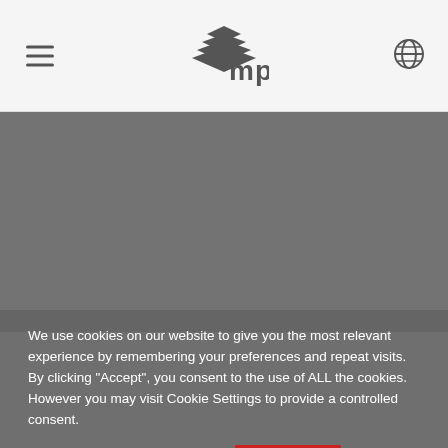[Figure (logo): MP logo with stacked layers icon and 'mp' text in dark gray]
[Figure (photo): Gray background content area, image not fully loaded]
We use cookies on our website to give you the most relevant experience by remembering your preferences and repeat visits. By clicking "Accept", you consent to the use of ALL the cookies. However you may visit Cookie Settings to provide a controlled consent.
Cookie settings
ACCEPT